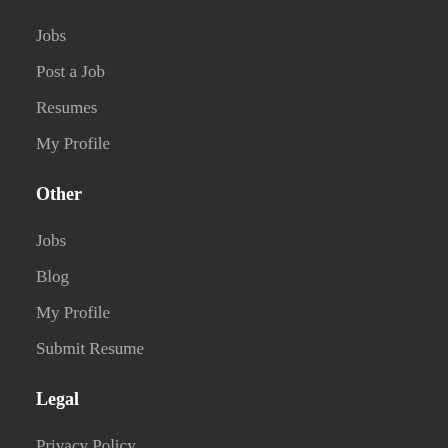Jobs
Post a Job
Resumes
My Profile
Other
Jobs
Blog
My Profile
Submit Resume
Legal
Privacy Policy
About Us
Contact